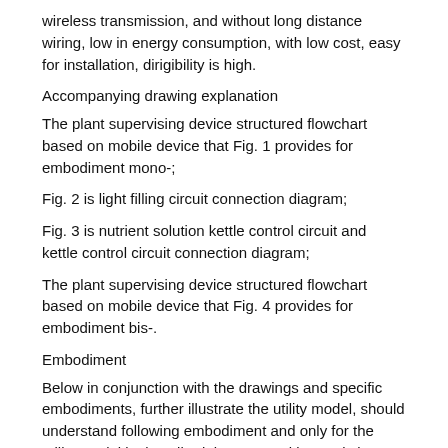wireless transmission, and without long distance wiring, low in energy consumption, with low cost, easy for installation, dirigibility is high.
Accompanying drawing explanation
The plant supervising device structured flowchart based on mobile device that Fig. 1 provides for embodiment mono-;
Fig. 2 is light filling circuit connection diagram;
Fig. 3 is nutrient solution kettle control circuit and kettle control circuit connection diagram;
The plant supervising device structured flowchart based on mobile device that Fig. 4 provides for embodiment bis-.
Embodiment
Below in conjunction with the drawings and specific embodiments, further illustrate the utility model, should understand following embodiment and only for the utility model is described, be not used in restriction scope of the present utility model.It should be noted that, word 'fornt'.